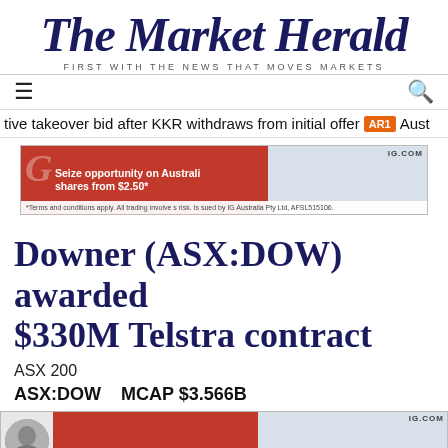The Market Herald
FIRST WITH THE NEWS THAT MOVES MARKETS
tive takeover bid after KKR withdraws from initial offer AR1 Aust
[Figure (other): IG advertisement banner: red and grey, 'Seize opportunity on Australian shares from $2.50*', IG.COM logo, fine print about terms and conditions]
Downer (ASX:DOW) awarded $330M Telstra contract
ASX 200
ASX:DOW    MCAP $3.566B
[Figure (other): IG advertisement banner with avatar photo on left, red and grey, IG.COM logo, fine print about terms and conditions]